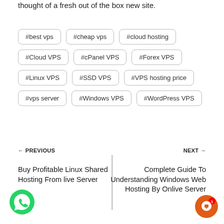thought of a fresh out of the box new site.
#best vps
#cheap vps
#cloud hosting
#Cloud VPS
#cPanel VPS
#Forex VPS
#Linux VPS
#SSD VPS
#VPS hosting price
#vps server
#Windows VPS
#WordPress VPS
← PREVIOUS
Buy Profitable Linux Shared Hosting From live Server
NEXT →
Complete Guide To Understanding Windows Web Hosting By Onlive Server